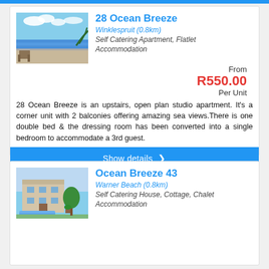[Figure (other): Blue horizontal bar at top of page]
28 Ocean Breeze
Winklespruit (0.8km)
Self Catering Apartment, Flatlet Accommodation
[Figure (photo): Photo of beach apartment balcony with ocean view and blue sky]
From R550.00 Per Unit
28 Ocean Breeze is an upstairs, open plan studio apartment. It's a corner unit with 2 balconies offering amazing sea views.There is one double bed & the dressing room has been converted into a single bedroom to accommodate a 3rd guest.
Show details ❯
Ocean Breeze 43
Warner Beach (0.8km)
Self Catering House, Cottage, Chalet Accommodation
[Figure (photo): Photo of house with pool and garden]